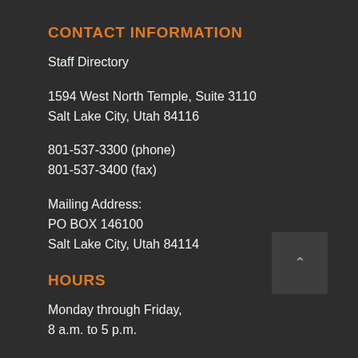CONTACT INFORMATION
Staff Directory
1594 West North Temple, Suite 3110
Salt Lake City, Utah 84116
801-537-3300 (phone)
801-537-3400 (fax)
Mailing Address:
PO BOX 146100
Salt Lake City, Utah 84114
HOURS
Monday through Friday,
8 a.m. to 5 p.m.
Natural Resources Map & Bookstore
Monday through Friday,